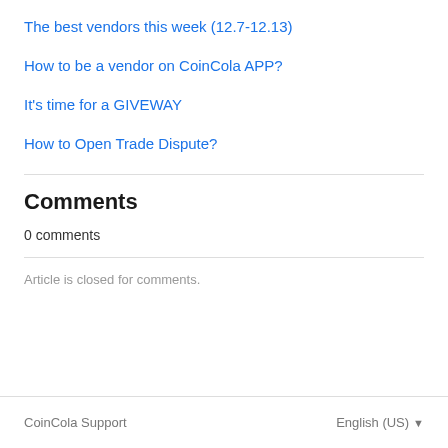The best vendors this week (12.7-12.13)
How to be a vendor on CoinCola APP?
It's time for a GIVEWAY
How to Open Trade Dispute?
Comments
0 comments
Article is closed for comments.
CoinCola Support   English (US) ▾